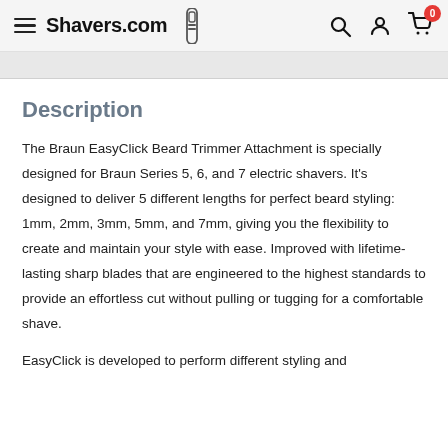Shavers.com
Description
The Braun EasyClick Beard Trimmer Attachment is specially designed for Braun Series 5, 6, and 7 electric shavers. It's designed to deliver 5 different lengths for perfect beard styling: 1mm, 2mm, 3mm, 5mm, and 7mm, giving you the flexibility to create and maintain your style with ease. Improved with lifetime-lasting sharp blades that are engineered to the highest standards to provide an effortless cut without pulling or tugging for a comfortable shave.
EasyClick is developed to perform different styling and